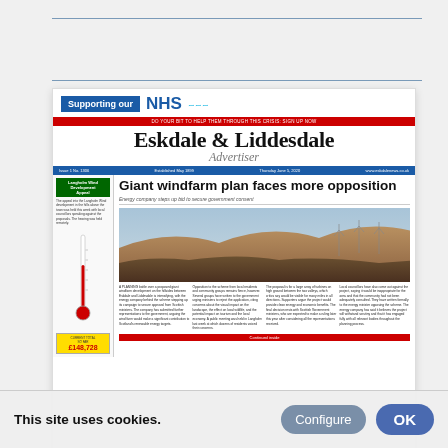[Figure (screenshot): Screenshot of Eskdale & Liddesdale Advertiser newspaper front page. Headline reads 'Giant windfarm plan faces more opposition' with subtitle 'Energy company steps up bid to secure government consent'. Features NHS support banner at top, newspaper masthead in gothic font, a photo of moorland/hills, article columns, thermometer fundraising graphic, and bottom banner 'THE ESKDALE & LIDDESDALE ADVERTISER - Owned by the Community, Published for the Community'.]
Wind farm objections heard at Langholm meeting
Continuing a...
This site uses cookies.